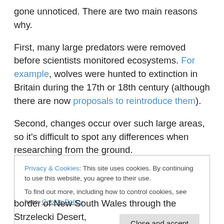gone unnoticed. There are two main reasons why.
First, many large predators were removed before scientists monitored ecosystems. For example, wolves were hunted to extinction in Britain during the 17th or 18th century (although there are now proposals to reintroduce them).
Second, changes occur over such large areas, so it's difficult to spot any differences when researching from the ground.
Privacy & Cookies: This site uses cookies. By continuing to use this website, you agree to their use.
To find out more, including how to control cookies, see here: Cookie Policy
border of New South Wales through the Strzelecki Desert,